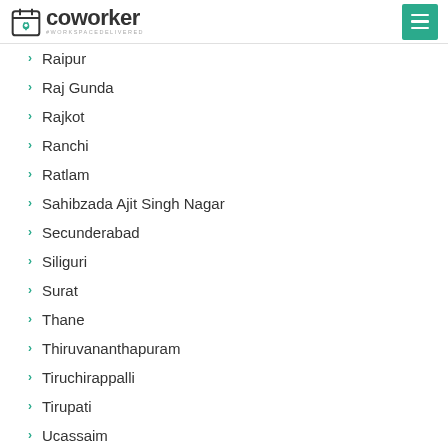coworker #WORKSPACEDELIVERED
Raipur
Raj Gunda
Rajkot
Ranchi
Ratlam
Sahibzada Ajit Singh Nagar
Secunderabad
Siliguri
Surat
Thane
Thiruvananthapuram
Tiruchirappalli
Tirupati
Ucassaim
Udaipur